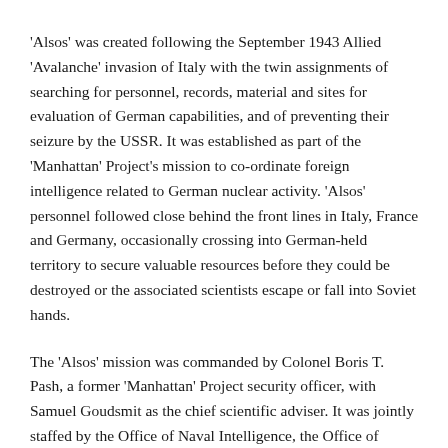'Alsos' was created following the September 1943 Allied 'Avalanche' invasion of Italy with the twin assignments of searching for personnel, records, material and sites for evaluation of German capabilities, and of preventing their seizure by the USSR. It was established as part of the 'Manhattan' Project's mission to co-ordinate foreign intelligence related to German nuclear activity. 'Alsos' personnel followed close behind the front lines in Italy, France and Germany, occasionally crossing into German-held territory to secure valuable resources before they could be destroyed or the associated scientists escape or fall into Soviet hands.
The 'Alsos' mission was commanded by Colonel Boris T. Pash, a former 'Manhattan' Project security officer, with Samuel Goudsmit as the chief scientific adviser. It was jointly staffed by the Office of Naval Intelligence, the Office of Scientific Research and Development, the 'Manhattan' Project, and US Army intelligence.